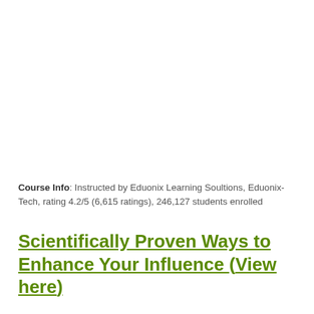Course Info: Instructed by Eduonix Learning Soultions, Eduonix-Tech, rating 4.2/5 (6,615 ratings), 246,127 students enrolled
Scientifically Proven Ways to Enhance Your Influence (View here)